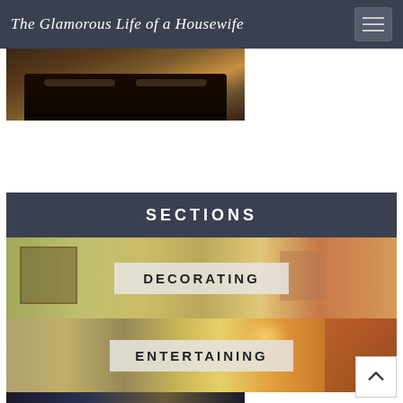The Glamorous Life of a Housewife
[Figure (photo): Feet wearing sandals/flat shoes on a wooden floor, partial view]
SECTIONS
[Figure (photo): Interior room with yellow-green walls and decorations, labeled DECORATING]
[Figure (photo): Dining room interior with chandelier and ornate furniture, labeled ENTERTAINING]
[Figure (photo): Partial view of decorative items, partially visible at bottom]